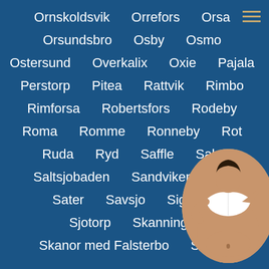Ornskoldsvik   Orrefors   Orsa
Orsundsbro   Osby   Osmo
Ostersund   Overkalix   Oxie   Pajala
Perstorp   Pitea   Rattvik   Rimbo
Rimforsa   Robertsfors   Rodeby
Roma   Romme   Ronneby   Rot
Ruda   Ryd   Saffle   Sala
Saltsjobaden   Sandviken   Sa...
Sater   Savsjo   Sigtuna
Sjotorp   Skanninge
Skanor med Falsterbo   Skara
[Figure (photo): Circular photo of a woman in white top, partially lifting it to reveal midriff, overlaid on bottom right of page]